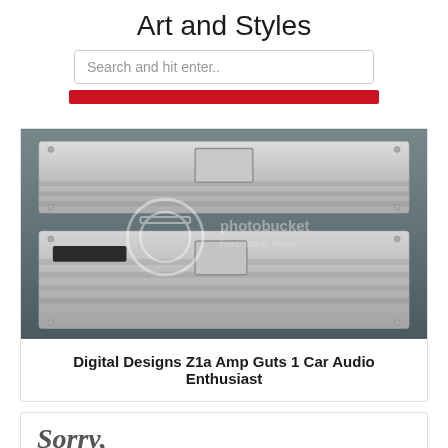Art and Styles
Search and hit enter..
[Figure (photo): Two silver car audio amplifiers (Digital Designs Z1a) stacked on a dark surface, with a Photobucket watermark overlay showing camera icon and 'photobucket host. store. share.' text]
Digital Designs Z1a Amp Guts 1 Car Audio Enthusiast
Sorry,